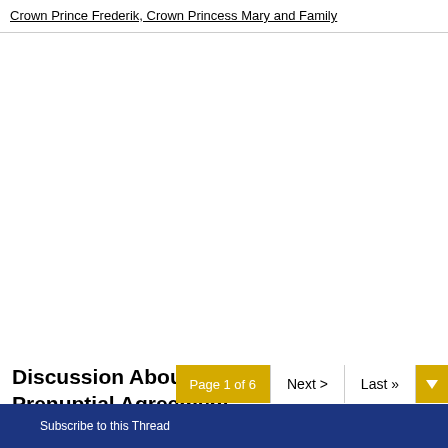Crown Prince Frederik, Crown Princess Mary and Family
Discussion About Frederik and Mary's Prenuptial Agreement
CLOSED
Page 1 of 6  Next >  Last »